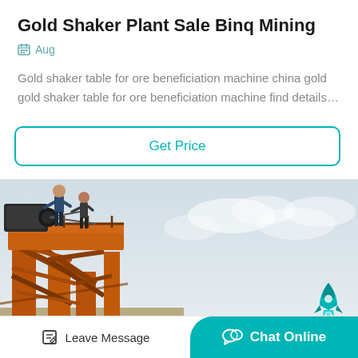Gold Shaker Plant Sale Binq Mining
Aug
Gold shaker table for ore beneficiation machine china gold gold shaker table for ore beneficiation machine find details…
Get Price
[Figure (photo): Mining equipment - large orange metal shaker plant structure with workers on top, photographed against a light sky]
Leave Message
Chat Online